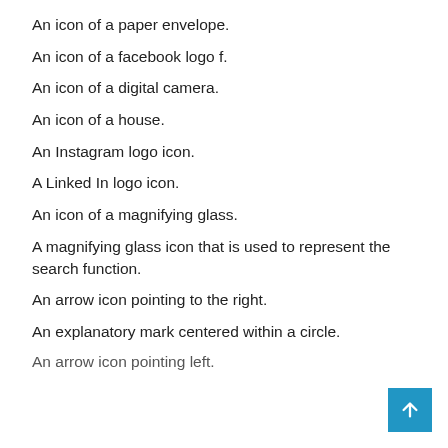An icon of a paper envelope.
An icon of a facebook logo f.
An icon of a digital camera.
An icon of a house.
An Instagram logo icon.
A Linked In logo icon.
An icon of a magnifying glass.
A magnifying glass icon that is used to represent the search function.
An arrow icon pointing to the right.
An explanatory mark centered within a circle.
An arrow icon pointing left.